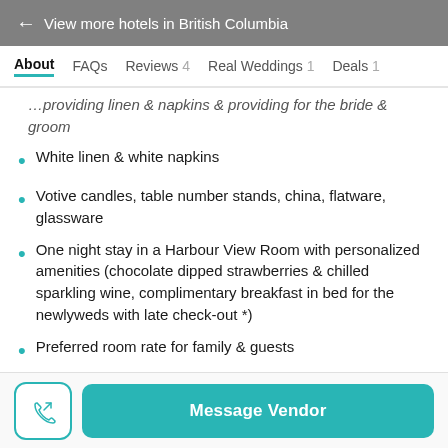← View more hotels in British Columbia
About  FAQs  Reviews 4  Real Weddings 1  Deals 1
…providing linen & napkins & groom
White linen & white napkins
Votive candles, table number stands, china, flatware, glassware
One night stay in a Harbour View Room with personalized amenities (chocolate dipped strawberries & chilled sparkling wine, complimentary breakfast in bed for the newlyweds with late check-out *)
Preferred room rate for family & guests
Message Vendor